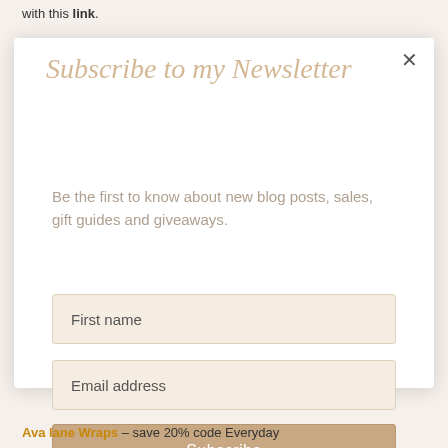with this link.
[Figure (screenshot): Newsletter subscription modal popup with title 'Subscribe to my Newsletter', description text, First name input field, Email address input field, and Subscribe button with a close X button in the top right corner.]
Ava lane Wraps – save 20% code Everyday